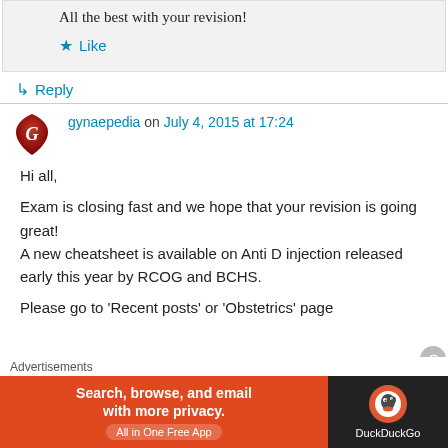All the best with your revision!
★ Like
↳ Reply
gynaepedia on July 4, 2015 at 17:24
Hi all,

Exam is closing fast and we hope that your revision is going great!
A new cheatsheet is available on Anti D injection released early this year by RCOG and BCHS.

Please go to 'Recent posts' or 'Obstetrics' page
Advertisements
Search, browse, and email with more privacy. All in One Free App | DuckDuckGo